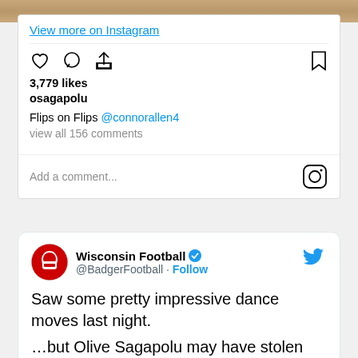[Figure (screenshot): Top sandy/beach background image strip]
View more on Instagram
3,779 likes
osagapolu
Flips on Flips @connorallen4
view all 156 comments
Add a comment...
Wisconsin Football @BadgerFootball · Follow
Saw some pretty impressive dance moves last night.

...but Olive Sagapolu may have stolen the